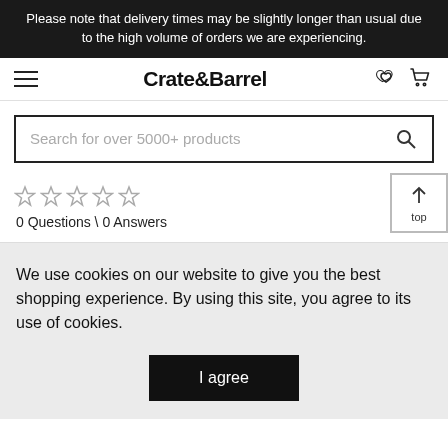Please note that delivery times may be slightly longer than usual due to the high volume of orders we are experiencing.
Crate&Barrel
Search for over 5000+ products
0 Questions \ 0 Answers
We use cookies on our website to give you the best shopping experience. By using this site, you agree to its use of cookies.